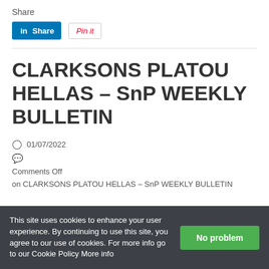Share
[Figure (infographic): LinkedIn Share button (blue) and Pinterest 'Pin it' button (white with red text)]
CLARKSONS PLATOU HELLAS – SnP WEEKLY BULLETIN
01/07/2022
Comments Off on CLARKSONS PLATOU HELLAS – SnP WEEKLY BULLETIN
This site uses cookies to enhance your user experience. By continuing to use this site, you agree to our use of cookies. For more info go to our Cookie Policy More info